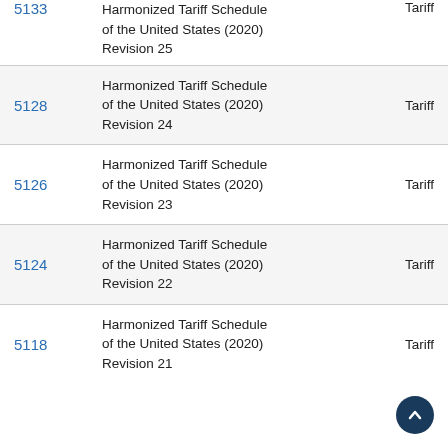| ID | Title | Type |
| --- | --- | --- |
| 5133 | Harmonized Tariff Schedule of the United States (2020) Revision 25 | Tariff |
| 5128 | Harmonized Tariff Schedule of the United States (2020) Revision 24 | Tariff |
| 5126 | Harmonized Tariff Schedule of the United States (2020) Revision 23 | Tariff |
| 5124 | Harmonized Tariff Schedule of the United States (2020) Revision 22 | Tariff |
| 5118 | Harmonized Tariff Schedule of the United States (2020) Revision 21 | Tariff |